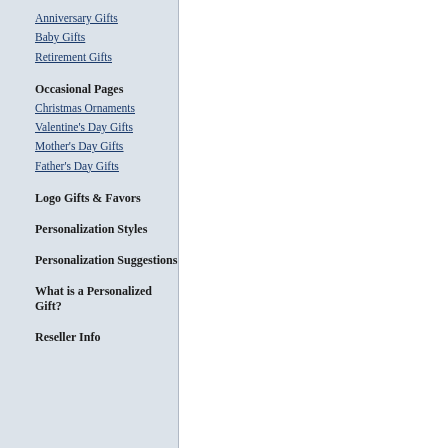Anniversary Gifts
Baby Gifts
Retirement Gifts
Occasional Pages
Christmas Ornaments
Valentine's Day Gifts
Mother's Day Gifts
Father's Day Gifts
Logo Gifts & Favors
Personalization Styles
Personalization Suggestions
What is a Personalized Gift?
Reseller Info